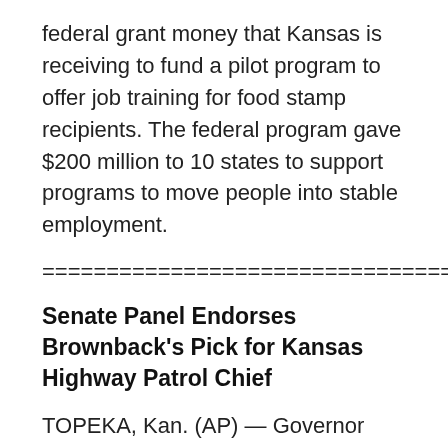federal grant money that Kansas is receiving to fund a pilot program to offer job training for food stamp recipients. The federal program gave $200 million to 10 states to support programs to move people into stable employment.
=================================
Senate Panel Endorses Brownback's Pick for Kansas Highway Patrol Chief
TOPEKA, Kan. (AP) — Governor Sam Brownback's appointment of a veteran Kansas Highway Patrol officer as the agency's superintendent has been endorsed by a state Senate committee. The Federal and State Affairs Committee voted unanimously Monday to